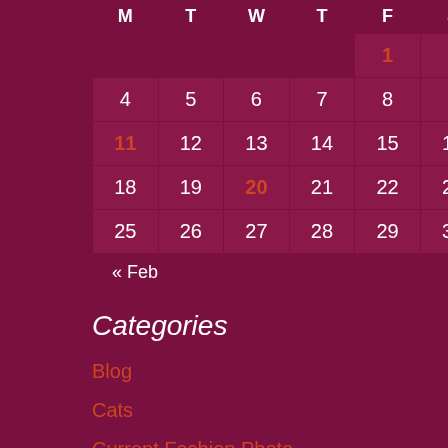| M | T | W | T | F | S | S |
| --- | --- | --- | --- | --- | --- | --- |
|  |  |  |  | 1 | 2 | 3 |
| 4 | 5 | 6 | 7 | 8 | 9 | 10 |
| 11 | 12 | 13 | 14 | 15 | 16 | 17 |
| 18 | 19 | 20 | 21 | 22 | 23 | 24 |
| 25 | 26 | 27 | 28 | 29 | 30 | 31 |
« Feb    Apr »
Categories
Blog
Cats
Current Fashion Photo
Fashion
Hair